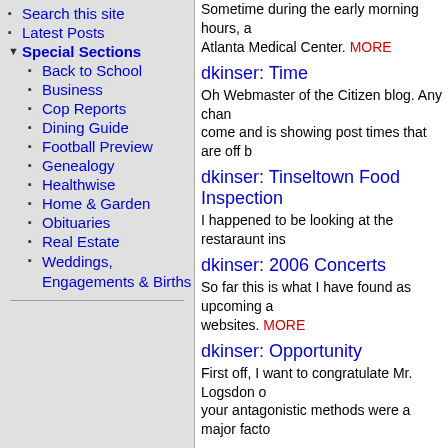Search this site
Latest Posts
Special Sections
Back to School
Business
Cop Reports
Dining Guide
Football Preview
Genealogy
Healthwise
Home & Garden
Obituaries
Real Estate
Weddings, Engagements & Births
dkinser: Time
Oh Webmaster of the Citizen blog. Any chance come and is showing post times that are off b
dkinser: Tinseltown Food Inspection
I happened to be looking at the restaraunt ins
dkinser: 2006 Concerts
So far this is what I have found as upcoming a websites. MORE
dkinser: Opportunity
First off, I want to congratulate Mr. Logsdon o your antagonistic methods were a major facto
dkinser: Prediction
I figure that if there is a low turnout, say less t MORE
dkinser: Who to vote for?
Who to vote for? That is the question that I m concluded. MORE
dkinser: Who's really fit to lead this cit
First off I want to say that I am extremely disa minute fliers over cleaning gutters, but they c